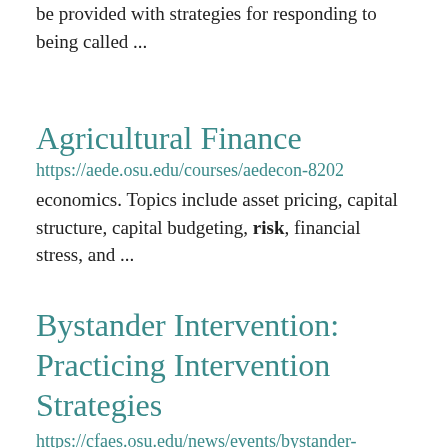be provided with strategies for responding to being called ...
Agricultural Finance
https://aede.osu.edu/courses/aedecon-8202
economics. Topics include asset pricing, capital structure, capital budgeting, risk, financial stress, and ...
Bystander Intervention: Practicing Intervention Strategies
https://cfaes.osu.edu/news/events/bystander-intervention-practicing-intervention-strategies
Participants will practice what they have learned during real-life scenarios. After...